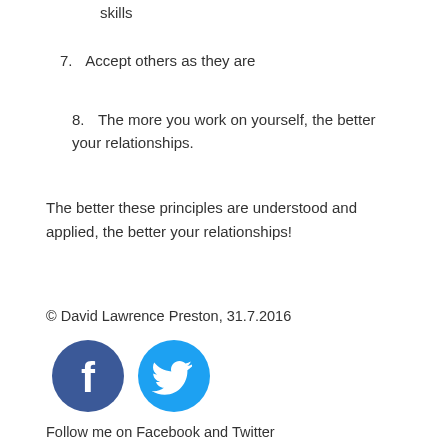skills
7. Accept others as they are
8. The more you work on yourself, the better your relationships.
The better these principles are understood and applied, the better your relationships!
© David Lawrence Preston, 31.7.2016
[Figure (logo): Facebook and Twitter social media icon buttons]
Follow me on Facebook and Twitter